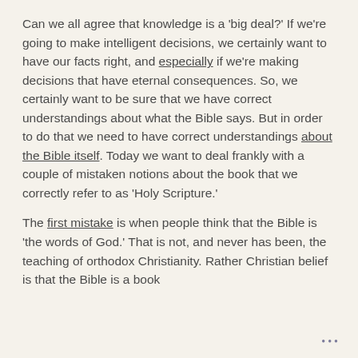Can we all agree that knowledge is a 'big deal?' If we're going to make intelligent decisions, we certainly want to have our facts right, and especially if we're making decisions that have eternal consequences. So, we certainly want to be sure that we have correct understandings about what the Bible says. But in order to do that we need to have correct understandings about the Bible itself. Today we want to deal frankly with a couple of mistaken notions about the book that we correctly refer to as 'Holy Scripture.'
The first mistake is when people think that the Bible is 'the words of God.' That is not, and never has been, the teaching of orthodox Christianity. Rather Christian belief is that the Bible is a book...
...